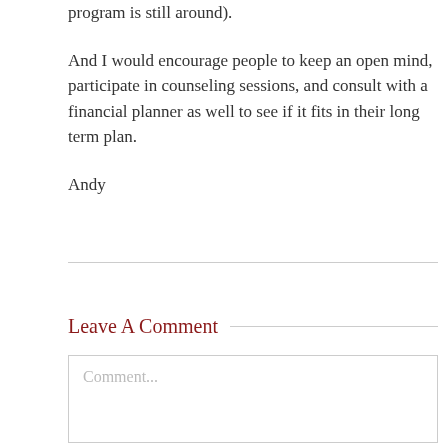program is still around).
And I would encourage people to keep an open mind, participate in counseling sessions, and consult with a financial planner as well to see if it fits in their long term plan.
Andy
Leave A Comment